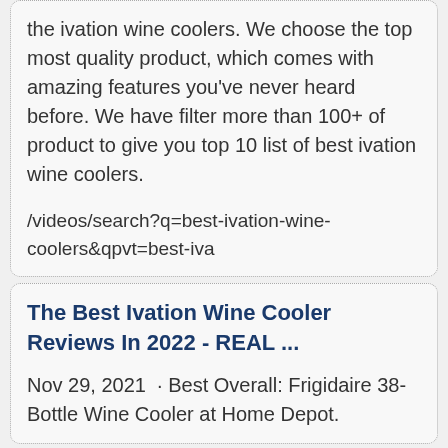the ivation wine coolers. We choose the top most quality product, which comes with amazing features you've never heard before. We have filter more than 100+ of product to give you top 10 list of best ivation wine coolers.
/videos/search?q=best-ivation-wine-coolers&qpvt=best-iva
The Best Ivation Wine Cooler Reviews In 2022 - REAL ...
Nov 29, 2021 · Best Overall: Frigidaire 38-Bottle Wine Cooler at Home Depot.